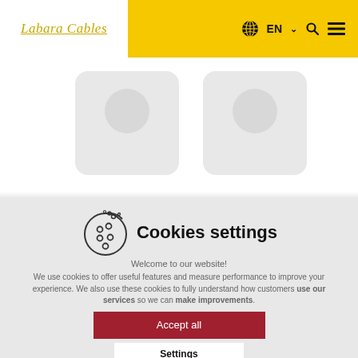Labara Cables — EN navigation header
[Figure (screenshot): Gray placeholder image area with rounded rectangle shapes on white background]
Cookies settings
Welcome to our website!
We use cookies to offer useful features and measure performance to improve your experience. We also use these cookies to fully understand how customers use our services so we can make improvements.
Accept all
Settings